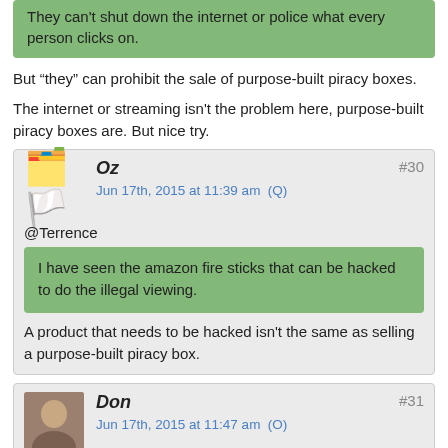They can't shut down the internet or police what every person clicks on.
But “they” can prohibit the sale of purpose-built piracy boxes.
The internet or streaming isn't the problem here, purpose-built piracy boxes are. But nice try.
Oz
Jun 17th, 2015 at 11:39 am  (Q)
#30
@Terrence
I have seen the amazon fire sticks that can be hacked to do the illegal viewing.
A product that needs to be hacked isn't the same as selling a purpose-built piracy box.
Don
Jun 17th, 2015 at 11:47 am  (O)
#31